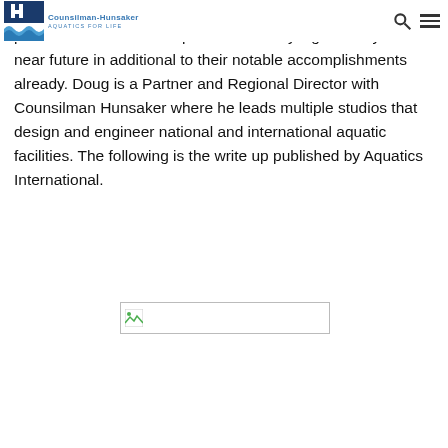Counsilman-Hunsaker | AQUATICS FOR LIFE
the aquatic industry annually. The 2012 group focuses on professionals that will impact the industry significantly in the near future in additional to their notable accomplishments already. Doug is a Partner and Regional Director with Counsilman Hunsaker where he leads multiple studios that design and engineer national and international aquatic facilities. The following is the write up published by Aquatics International.
[Figure (other): Broken image placeholder rectangle]